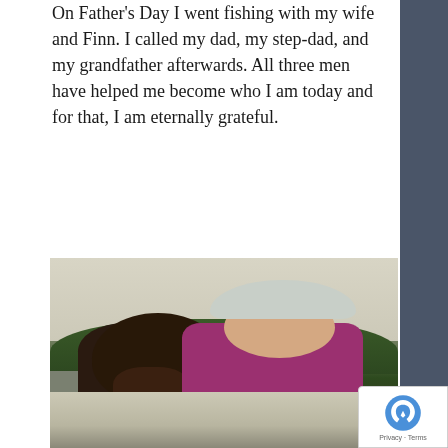On Father's Day I went fishing with my wife and Finn. I called my dad, my step-dad, and my grandfather afterwards. All three men have helped me become who I am today and for that, I am eternally grateful.
[Figure (photo): A woman wearing a pink/magenta long-sleeve shirt and a light gray visor cap, cheek-to-cheek with a chocolate Labrador Retriever dog, outdoors near a body of water with trees in the background. The photo has a warm, slightly desaturated vintage tone.]
[Figure (photo): Partial view of another outdoor photo showing a pale sky and water/landscape, cut off at the bottom of the page.]